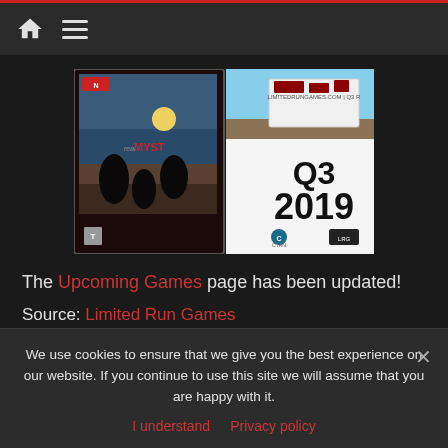Navigation bar with home icon and hamburger menu
[Figure (photo): Two game-related images side by side: left shows a Nintendo Switch game case for realMYST Masterpiece Edition with dark atmospheric artwork; right shows a Q3 2019 Limited Run Games catalog box with CTRN and Limited Run logos]
The Upcoming Games page has been updated!
Source: Limited Run Games
We use cookies to ensure that we give you the best experience on our website. If you continue to use this site we will assume that you are happy with it.
I understand  Privacy policy